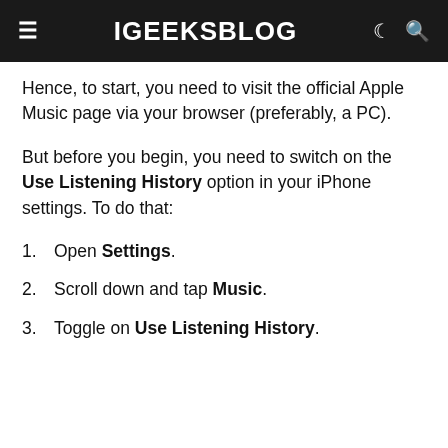iGEEKSBLOG
Hence, to start, you need to visit the official Apple Music page via your browser (preferably, a PC).
But before you begin, you need to switch on the Use Listening History option in your iPhone settings. To do that:
1. Open Settings.
2. Scroll down and tap Music.
3. Toggle on Use Listening History.